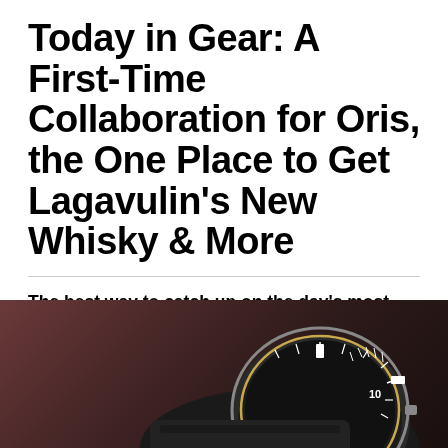Today in Gear: A First-Time Collaboration for Oris, the One Place to Get Lagavulin's New Whisky & More
The best way to catch up on the day's most important product releases and stories.
BY GEAR PATROL   AUG 20, 2019
[Figure (photo): Close-up photo of a watch face with dark strap against a reddish-brown background, showing dial markings including the number 10]